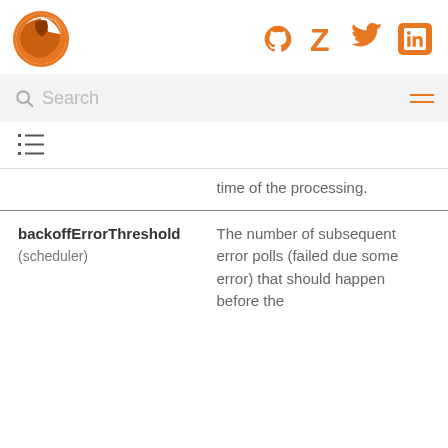Rollbar logo, GitHub, Zello, Twitter, LinkedIn social icons
Search
[Figure (other): Table of contents icon (list with lines)]
| Parameter | Description |
| --- | --- |
|  | time of the processing. |
| backoffErrorThreshold (scheduler) | The number of subsequent error polls (failed due some error) that should happen before the |